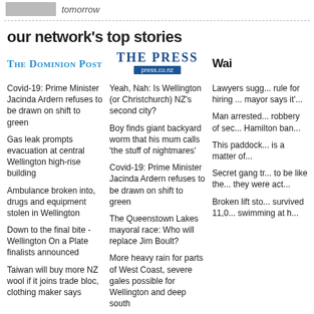tomorrow
our network's top stories
[Figure (logo): The Dominion Post logo in teal/blue serif font]
Covid-19: Prime Minister Jacinda Ardern refuses to be drawn on shift to green
Gas leak prompts evacuation at central Wellington high-rise building
Ambulance broken into, drugs and equipment stolen in Wellington
Down to the final bite - Wellington On a Plate finalists announced
Taiwan will buy more NZ wool if it joins trade bloc, clothing maker says
[Figure (logo): The Press logo with press.co.nz URL bar]
Yeah, Nah: Is Wellington (or Christchurch) NZ's second city?
Boy finds giant backyard worm that his mum calls 'the stuff of nightmares'
Covid-19: Prime Minister Jacinda Ardern refuses to be drawn on shift to green
The Queenstown Lakes mayoral race: Who will replace Jim Boult?
More heavy rain for parts of West Coast, severe gales possible for Wellington and deep south
[Figure (logo): Wai... (partially visible) logo in bold black]
Lawyers suggest rule for hiring... mayor says it'...
Man arrested... robbery of sec... Hamilton ban...
This paddock... is a matter of...
Secret gang tr... to be like the... they were act...
Broken lift sto... survived 11,0... swimming at h...
[Figure (logo): Taranaki Daily News logo]
[Figure (logo): Manawatu Standard logo in black and green]
[Figure (logo): Nel... (partially visible) logo in red]